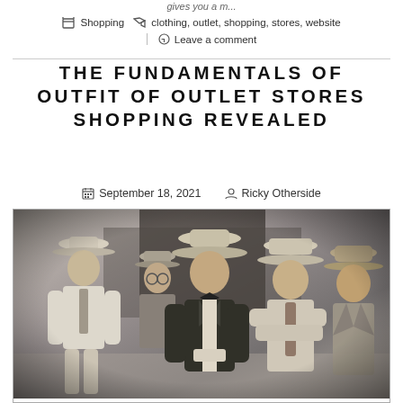gives you a m...
Shopping   clothing, outlet, shopping, stores, website
Leave a comment
THE FUNDAMENTALS OF OUTFIT OF OUTLET STORES SHOPPING REVEALED
September 18, 2021   Ricky Otherside
[Figure (photo): Black and white vintage photograph of five men wearing hats and suits, posing together outdoors]